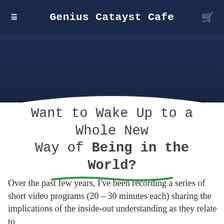Genius Catayst Cafe
[Figure (photo): Dark navy background image section, partially visible at top with faint imagery]
Want to Wake Up to a Whole New Way of Being in the World?
Over the past few years, I've been recording a series of short video programs (20 – 30 minutes each) sharing the implications of the inside-out understanding as they relate to